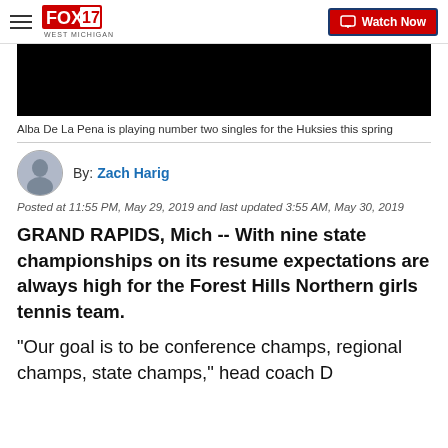FOX 17 WEST MICHIGAN — Watch Now
[Figure (photo): Black video thumbnail placeholder image]
Alba De La Pena is playing number two singles for the Huksies this spring
By: Zach Harig
Posted at 11:55 PM, May 29, 2019 and last updated 3:55 AM, May 30, 2019
GRAND RAPIDS, Mich -- With nine state championships on its resume expectations are always high for the Forest Hills Northern girls tennis team.
"Our goal is to be conference champs, regional champs, state champs," head coach D...